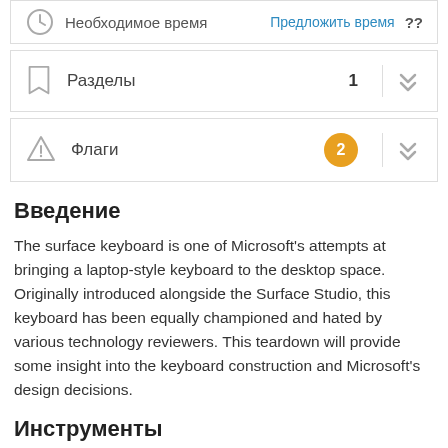Необходимое время   Предложить время   ??
Разделы   1
Флаги   2
Введение
The surface keyboard is one of Microsoft's attempts at bringing a laptop-style keyboard to the desktop space. Originally introduced alongside the Surface Studio, this keyboard has been equally championed and hated by various technology reviewers. This teardown will provide some insight into the keyboard construction and Microsoft's design decisions.
Инструменты